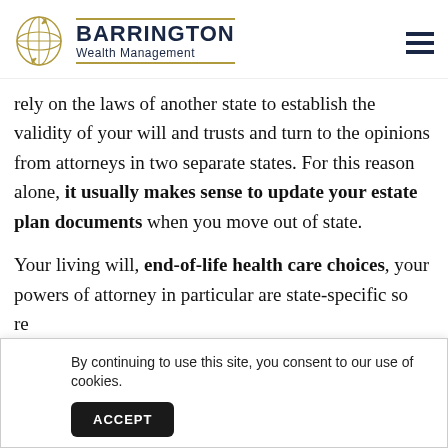[Figure (logo): Barrington Wealth Management logo with globe icon and company name]
rely on the laws of another state to establish the validity of your will and trusts and turn to the opinions from attorneys in two separate states. For this reason alone, it usually makes sense to update your estate plan documents when you move out of state.
Your living will, end-of-life health care choices, your powers of attorney in particular are state-specific so re a
By continuing to use this site, you consent to our use of cookies.